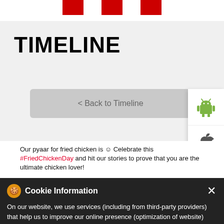TIMELINE page header with red blocks
TIMELINE
< Back to Timeline
Our pyaar for fried chicken is ☺ Celebrate this #FriedChickenDay and hit our stories to prove that you are the ultimate chicken lover!
#FriedChickenDay
Posted On: 06 Jul 2022 7:07 PM
Done dreamin' about chicken? Good, let's order in now!
#WednesdaySpecials
#KFCFavourites
#KFCContactlessDelivery
Cookie Information
On our website, we use services (including from third-party providers) that help us to improve our online presence (optimization of website) and to display content that is geared to their interests. We need your consent before being able to use these services.
I ACCEPT